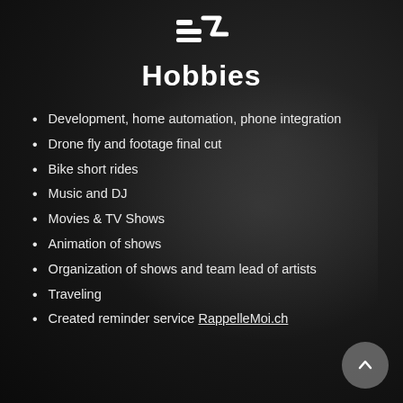[Figure (logo): White stylized logo/icon at top center]
Hobbies
Development, home automation, phone integration
Drone fly and footage final cut
Bike short rides
Music and DJ
Movies & TV Shows
Animation of shows
Organization of shows and team lead of artists
Traveling
Created reminder service RappelleMoi.ch